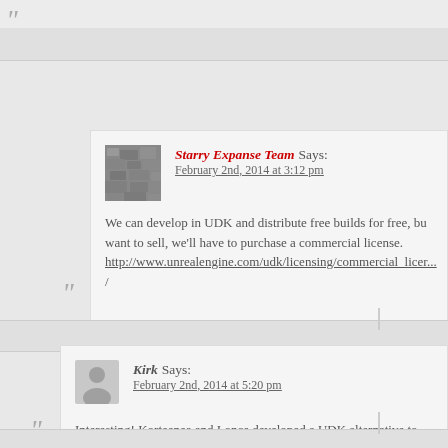Starry Expanse Team Says: February 2nd, 2014 at 3:12 pm
We can develop in UDK and distribute free builds for free, but if we want to sell, we'll have to purchase a commercial license. http://www.unrealengine.com/udk/licensing/commercial_licen... /
Kirk Says: February 2nd, 2014 at 5:20 pm
Interesting! Korteenea and I once developed a UDK alternative to Uru modding called UnrealMYST, which might be useful. We didn't really get to the demo stage what with work and all (we wanted to make fan ages), so all we've got abstraction layer on top of UDK for interaction and linking and so forth.